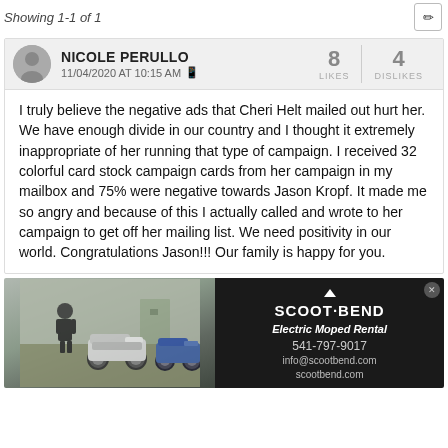Showing 1-1 of 1
NICOLE PERULLO
11/04/2020 AT 10:15 AM
8 LIKES  4 DISLIKES
I truly believe the negative ads that Cheri Helt mailed out hurt her. We have enough divide in our country and I thought it extremely inappropriate of her running that type of campaign. I received 32 colorful card stock campaign cards from her campaign in my mailbox and 75% were negative towards Jason Kropf. It made me so angry and because of this I actually called and wrote to her campaign to get off her mailing list. We need positivity in our world. Congratulations Jason!!! Our family is happy for you.
[Figure (photo): Advertisement for Scoot Bend Electric Moped Rental showing two mopeds parked outdoors with a person standing nearby, alongside black background ad panel with brand name, tagline, phone number and website.]